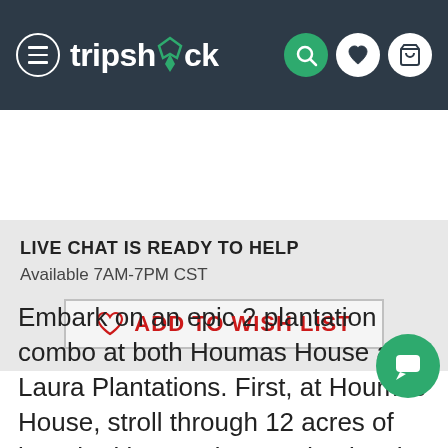tripshock — navigation header with hamburger menu, logo, search, wishlist, and cart icons
LIVE CHAT IS READY TO HELP
Available 7AM-7PM CST
ADD TO WISH LIST
Embark on an epic 2 plantation combo at both Houmas House and Laura Plantations. First, at Houmas House, stroll through 12 acres of breathtaking gardens and enjoy the wat pond, fountains, sculptures, bridges, and the gentleman's quarters. This plantation is known for its massive collection of antiques, artworks, and period dressed tour guides dressed in